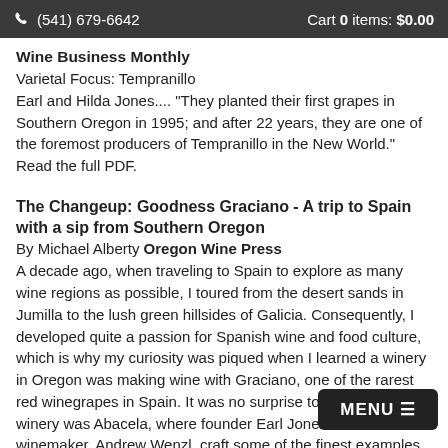(541) 679-6642   Cart 0 items: $0.00
Wine Business Monthly
Varietal Focus: Tempranillo
Earl and Hilda Jones.... "They planted their first grapes in Southern Oregon in 1995; and after 22 years, they are one of the foremost producers of Tempranillo in the New World." Read the full PDF.
The Changeup: Goodness Graciano - A trip to Spain with a sip from Southern Oregon
By Michael Alberty Oregon Wine Press
A decade ago, when traveling to Spain to explore as many wine regions as possible, I toured from the desert sands in Jumilla to the lush green hillsides of Galicia. Consequently, I developed quite a passion for Spanish wine and food culture, which is why my curiosity was piqued when I learned a winery in Oregon was making wine with Graciano, one of the rarest red winegrapes in Spain. It was no surprise to discover the winery was Abacela, where founder Earl Jones and his head winemaker, Andrew Wenzl, craft some of the finest examples of Tem Albariño in the New World. I couldn't drive to Ros enough, more.